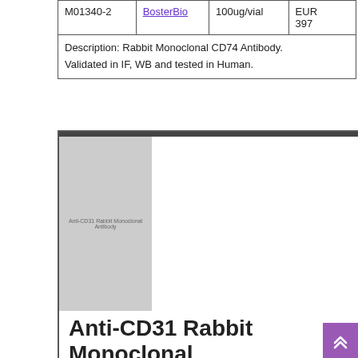|  |  |  |  |
| --- | --- | --- | --- |
| M01340-2 | BosterBio | 100ug/vial | EUR 397 |
| Description: Rabbit Monoclonal CD74 Antibody. Validated in IF, WB and tested in Human. |  |  |  |
[Figure (photo): Product image placeholder showing Anti-CD31 Rabbit Monoclonal Antibody label]
Anti-CD31 Rabbit Monoclonal Antibody